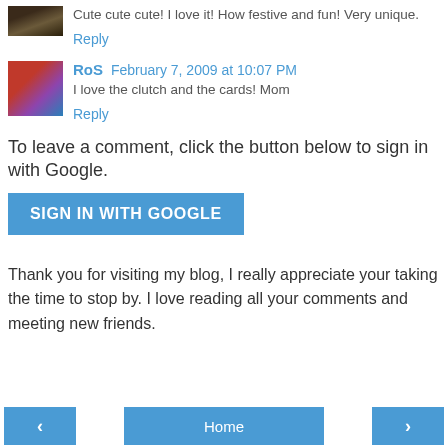[Figure (photo): Small avatar photo of commenter, dark outdoor scene]
Cute cute cute! I love it! How festive and fun! Very unique.
Reply
[Figure (photo): Small avatar photo of RoS, woman in red/purple]
RoS  February 7, 2009 at 10:07 PM
I love the clutch and the cards! Mom
Reply
To leave a comment, click the button below to sign in with Google.
SIGN IN WITH GOOGLE
Thank you for visiting my blog, I really appreciate your taking the time to stop by. I love reading all your comments and meeting new friends.
‹
Home
›